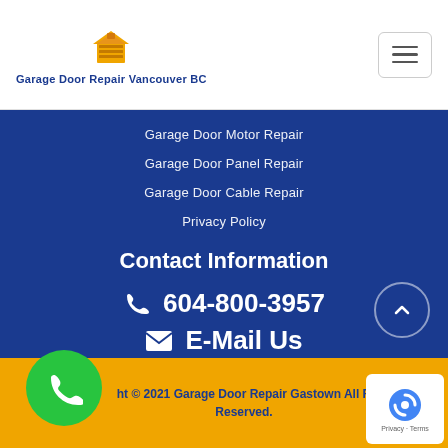Garage Door Repair Vancouver BC
Garage Door Motor Repair
Garage Door Panel Repair
Garage Door Cable Repair
Privacy Policy
Contact Information
604-800-3957
E-Mail Us
Copyright © 2021 Garage Door Repair Gastown All Rights Reserved.